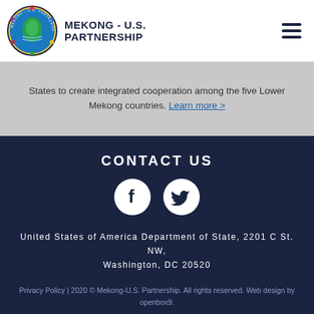MEKONG - U.S. PARTNERSHIP
States to create integrated cooperation among the five Lower Mekong countries. Learn more >
CONTACT US
[Figure (logo): Facebook and Twitter social media icons (white on dark navy circle)]
United States of America Department of State, 2201 C St. NW, Washington, DC 20520
Privacy Policy | 2020 © Mekong-U.S. Partnership. All rights reserved. Web design by openbox9.